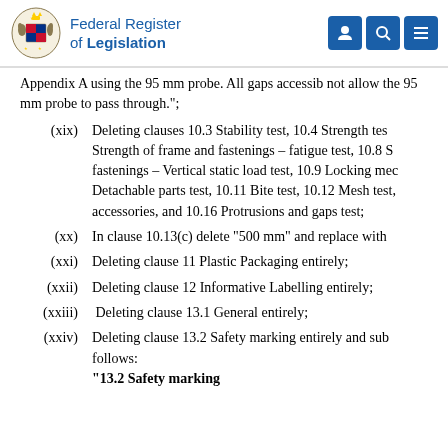Federal Register of Legislation
Appendix A using the 95 mm probe. All gaps accessib not allow the 95 mm probe to pass through.";
(xix) Deleting clauses 10.3 Stability test, 10.4 Strength tes Strength of frame and fastenings – fatigue test, 10.8 S fastenings – Vertical static load test, 10.9 Locking mec Detachable parts test, 10.11 Bite test, 10.12 Mesh test, accessories, and 10.16 Protrusions and gaps test;
(xx) In clause 10.13(c) delete “500 mm” and replace with
(xxi) Deleting clause 11 Plastic Packaging entirely;
(xxii) Deleting clause 12 Informative Labelling entirely;
(xxiii) Deleting clause 13.1 General entirely;
(xxiv) Deleting clause 13.2 Safety marking entirely and sub follows:
“13.2 Safety marking